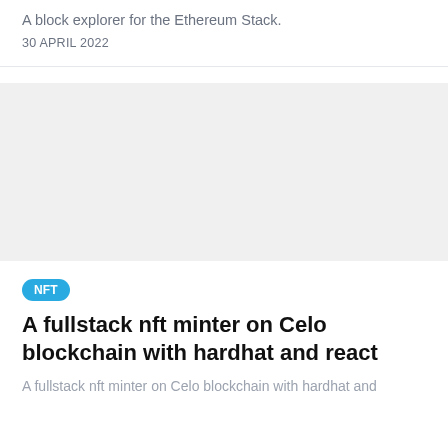A block explorer for the Ethereum Stack.
30 APRIL 2022
[Figure (other): Light gray image placeholder area]
NFT
A fullstack nft minter on Celo blockchain with hardhat and react
A fullstack nft minter on Celo blockchain with hardhat and